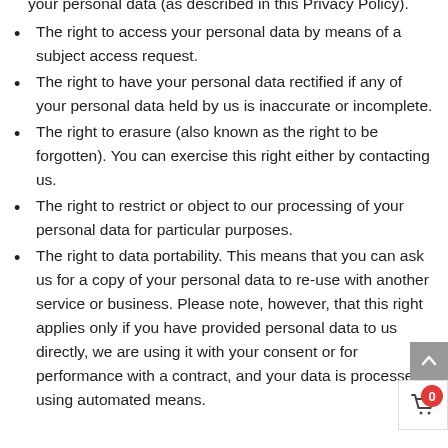your personal data (as described in this Privacy Policy).
The right to access your personal data by means of a subject access request.
The right to have your personal data rectified if any of your personal data held by us is inaccurate or incomplete.
The right to erasure (also known as the right to be forgotten). You can exercise this right either by contacting us.
The right to restrict or object to our processing of your personal data for particular purposes.
The right to data portability. This means that you can ask us for a copy of your personal data to re-use with another service or business. Please note, however, that this right applies only if you have provided personal data to us directly, we are using it with your consent or for performance with a contract, and your data is processed using automated means.